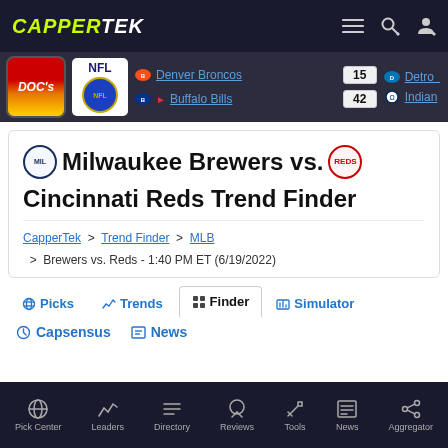CAPPERTEK (navigation bar with menu, search, and user icons)
NFL | Denver Broncos 15 | Buffalo Bills 42 | Detroit ... | Indiana...
Milwaukee Brewers vs. Cincinnati Reds Trend Finder
CapperTek > Trend Finder > MLB > Brewers vs. Reds - 1:40 PM ET (6/19/2022)
Picks | Trends | Finder | Simulator
Capsensus | News
Pick Center | Leaders | Directory | Reviews | Tools | News | Aggregator